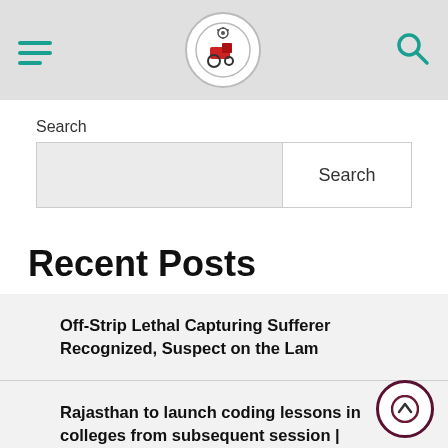Navigation bar with menu icon, logo, and search icon
Search
Recent Posts
Off-Strip Lethal Capturing Sufferer Recognized, Suspect on the Lam
Rajasthan to launch coding lessons in colleges from subsequent session | Jaipur Information
Blackpool vs Blackburn Guess Builder Ideas & Predictions